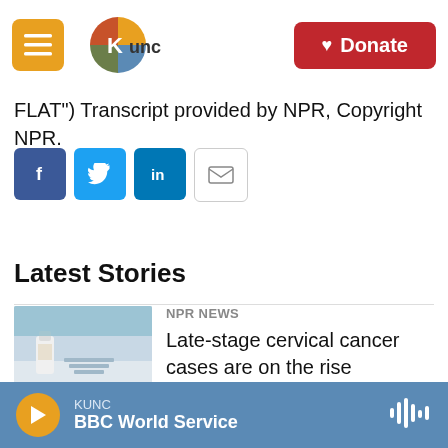[Figure (screenshot): KUNC website header with hamburger menu button, KUNC logo, and red Donate button. Mountain landscape visible in background.]
FLAT") Transcript provided by NPR, Copyright NPR.
[Figure (infographic): Social share buttons: Facebook (blue), Twitter (blue), LinkedIn (blue), Email (white outline)]
Latest Stories
[Figure (photo): Photo of medical/laboratory items on a table, including a small medicine bottle and medical supplies]
NPR News
Late-stage cervical cancer cases are on the rise
[Figure (infographic): KUNC audio player bar with orange play button, KUNC BBC World Service label, and audio waveform icon]